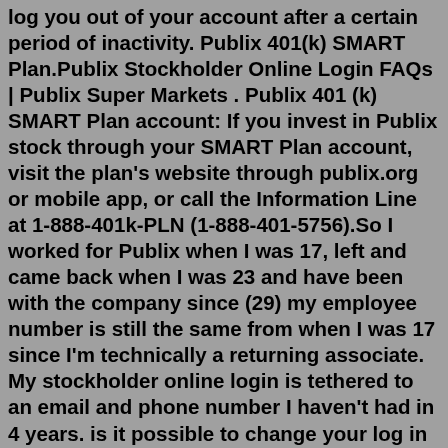log you out of your account after a certain period of inactivity. Publix 401(k) SMART Plan.Publix Stockholder Online Login FAQs | Publix Super Markets . Publix 401 (k) SMART Plan account: If you invest in Publix stock through your SMART Plan account, visit the plan's website through publix.org or mobile app, or call the Information Line at 1-888-401k-PLN (1-888-401-5756).So I worked for Publix when I was 17, left and came back when I was 23 and have been with the company since (29) my employee number is still the same from when I was 17 since I'm technically a returning associate. My stockholder online login is tethered to an email and phone number I haven't had in 4 years. is it possible to change your log in ...Print and sign the form as indicated, and then send it with a voided check to Publix stockholder services. Publix, the largest employee-owned company in the U.S. with more than 225,000 associates, currently operates 1,284 stores in Florida, Georgia, Alabama, Tennessee, South Carolina, North Carolina